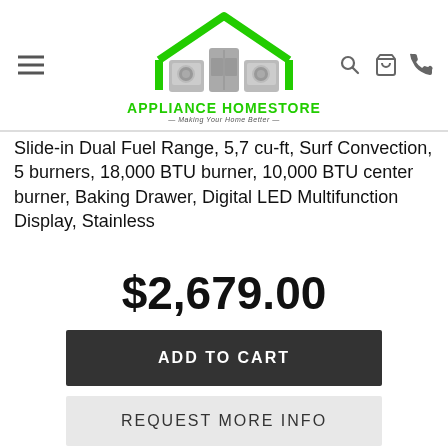[Figure (logo): Appliance Homestore logo with green house outline and grey appliance icons, text APPLIANCE HOMESTORE - Making Your Home Better -]
Slide-in Dual Fuel Range, 5.7 cu-ft, Surf Convection, 5 burners, 18,000 BTU burner, 10,000 BTU center burner, Baking Drawer, Digital LED Multifunction Display, Stainless
$2,679.00
ADD TO CART
REQUEST MORE INFO